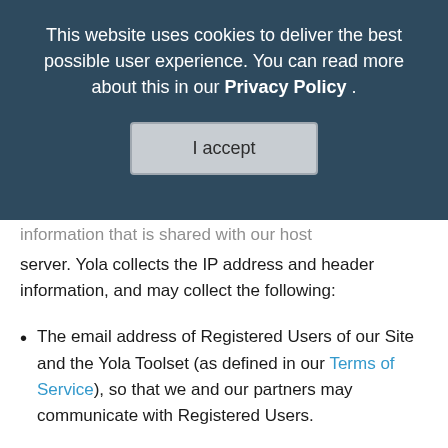This website uses cookies to deliver the best possible user experience. You can read more about this in our Privacy Policy .
I accept
information that is shared with our host server. Yola collects the IP address and header information, and may collect the following:
The email address of Registered Users of our Site and the Yola Toolset (as defined in our Terms of Service), so that we and our partners may communicate with Registered Users.
The email addresses of Registered Users who communicate with us via